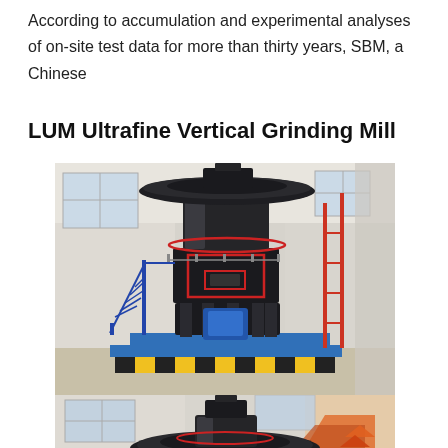According to accumulation and experimental analyses of on-site test data for more than thirty years, SBM, a Chinese
LUM Ultrafine Vertical Grinding Mill
[Figure (photo): Large industrial LUM Ultrafine Vertical Grinding Mill machine photographed inside a factory/warehouse setting. The machine is a tall cylindrical dark grey/black vertical mill with a wide disc at the top, red-trimmed components in the middle section, and a blue motor at the base. It stands on a platform with blue and yellow safety-striped floor markings. Metal staircases and railings are visible around the machine. Background shows industrial warehouse walls with windows.]
[Figure (photo): Partial view of another LUM Ultrafine Vertical Grinding Mill machine photographed from a lower angle inside a factory. The top portion of the machine is visible showing the wide disc/rotor assembly. Background shows warehouse windows and an orange/red roof structure.]